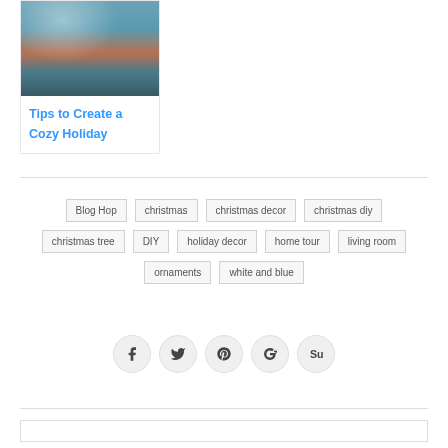[Figure (photo): Top-down view of a holiday decorated living room with a Christmas tree, blue rug, white sofa, and coffee table]
Tips to Create a Cozy Holiday
Blog Hop
christmas
christmas decor
christmas diy
christmas tree
DIY
holiday decor
home tour
living room
ornaments
white and blue